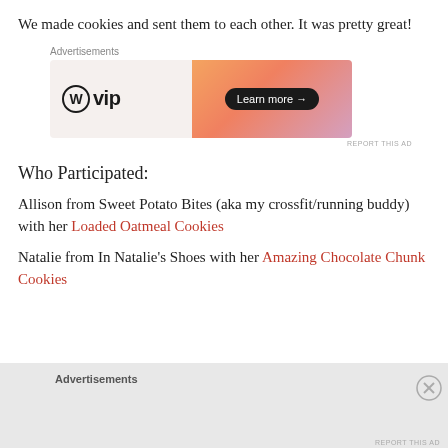We made cookies and sent them to each other. It was pretty great!
[Figure (other): WordPress VIP advertisement banner with orange gradient and 'Learn more' button]
Who Participated:
Allison from Sweet Potato Bites (aka my crossfit/running buddy) with her Loaded Oatmeal Cookies
Natalie from In Natalie's Shoes with her Amazing Chocolate Chunk Cookies
[Figure (other): Bottom advertisement section with close button]